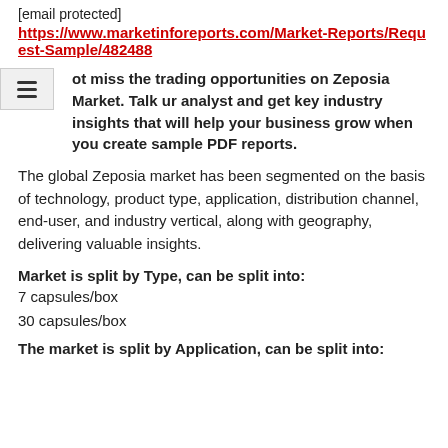[email protected]
https://www.marketinforeports.com/Market-Reports/Request-Sample/482488
ot miss the trading opportunities on Zeposia Market. Talk ur analyst and get key industry insights that will help your business grow when you create sample PDF reports.
The global Zeposia market has been segmented on the basis of technology, product type, application, distribution channel, end-user, and industry vertical, along with geography, delivering valuable insights.
Market is split by Type, can be split into:
7 capsules/box
30 capsules/box
The market is split by Application, can be split into: